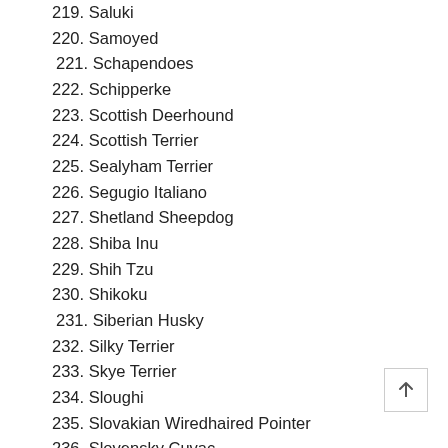219. Saluki
220. Samoyed
221. Schapendoes
222. Schipperke
223. Scottish Deerhound
224. Scottish Terrier
225. Sealyham Terrier
226. Segugio Italiano
227. Shetland Sheepdog
228. Shiba Inu
229. Shih Tzu
230. Shikoku
231. Siberian Husky
232. Silky Terrier
233. Skye Terrier
234. Sloughi
235. Slovakian Wiredhaired Pointer
236. Slovensky Cuvac
237. Slovensky Kopov